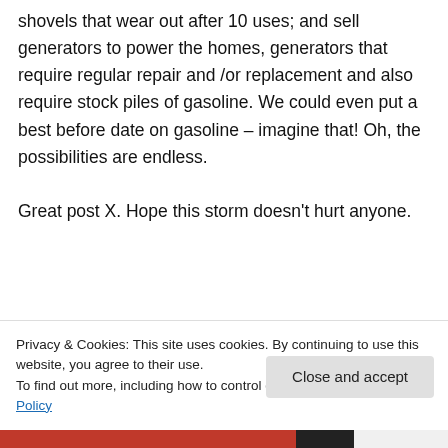shovels that wear out after 10 uses; and sell generators to power the homes, generators that require regular repair and /or replacement and also require stock piles of gasoline. We could even put a best before date on gasoline – imagine that! Oh, the possibilities are endless.

Great post X. Hope this storm doesn't hurt anyone.
★ Like
Privacy & Cookies: This site uses cookies. By continuing to use this website, you agree to their use.
To find out more, including how to control cookies, see here: Cookie Policy
Close and accept